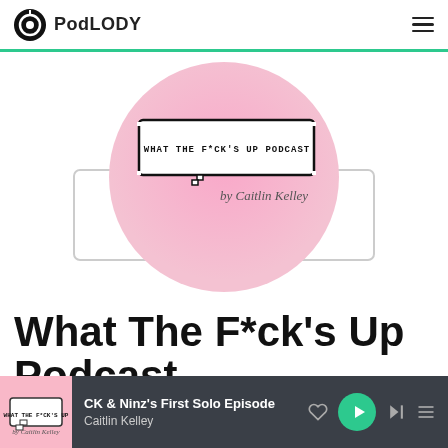PodLODY
[Figure (logo): What The F*ck's Up Podcast logo — pink circular background with a pixel-art speech bubble reading 'WHAT THE F*CK'S UP PODCAST' and script text 'by Caitlin Kelley'. Behind it a faint outlined rectangle with 'WHAT THE F*CK'S UP PODCAST' text.]
What The F*ck's Up Podcast
CK & Ninz's First Solo Episode
Caitlin Kelley